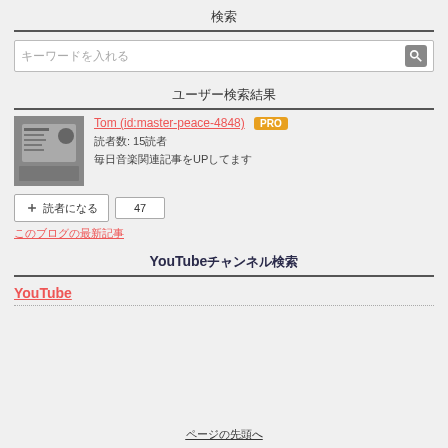検索
キーワードを入れる
ユーザー検索結果
[Figure (photo): User avatar photo showing a person at an event holding a sign]
Tom (id:master-peace-4848) PRO
読者数: 15読者
毎日音楽関連記事をUPしてます
+ 読者になる  47
このブログの最新記事
YouTubeチャンネル検索
YouTube
ページの先頭へ